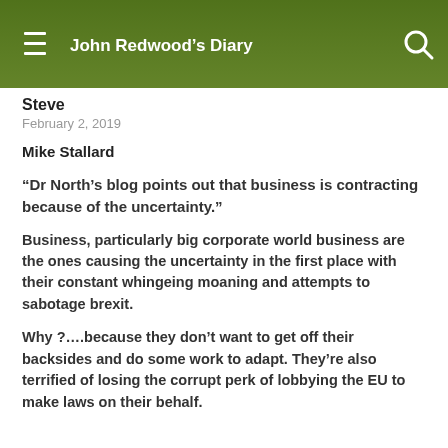John Redwood's Diary
Steve
February 2, 2019
Mike Stallard
“Dr North’s blog points out that business is contracting because of the uncertainty.”
Business, particularly big corporate world business are the ones causing the uncertainty in the first place with their constant whingeing moaning and attempts to sabotage brexit.
Why ?….because they don’t want to get off their backsides and do some work to adapt. They’re also terrified of losing the corrupt perk of lobbying the EU to make laws on their behalf.